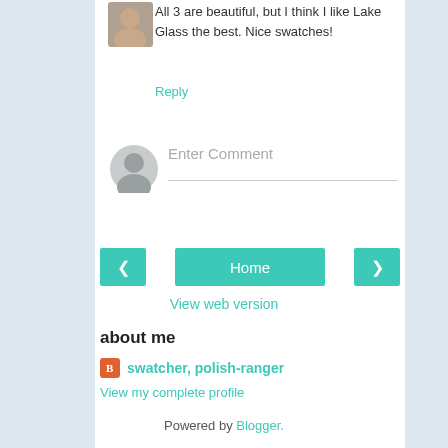[Figure (photo): Small circular/square avatar photo of a woman]
All 3 are beautiful, but I think I like Lake Glass the best. Nice swatches!
Reply
[Figure (illustration): Default grey user avatar silhouette for comment input]
Enter Comment
‹ Home ›
View web version
about me
swatcher, polish-ranger
View my complete profile
Powered by Blogger.
BLOG DESIGN BY DESIGNER BLOGS